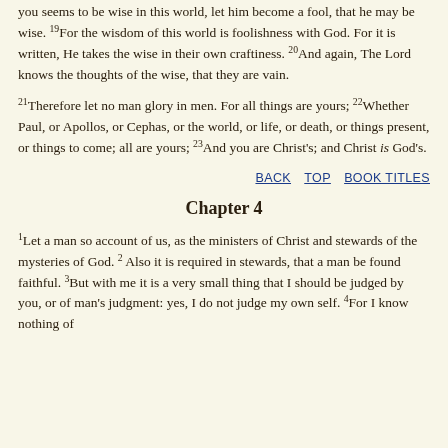you seems to be wise in this world, let him become a fool, that he may be wise. 19For the wisdom of this world is foolishness with God. For it is written, He takes the wise in their own craftiness. 20And again, The Lord knows the thoughts of the wise, that they are vain.
21Therefore let no man glory in men. For all things are yours; 22Whether Paul, or Apollos, or Cephas, or the world, or life, or death, or things present, or things to come; all are yours; 23And you are Christ's; and Christ is God's.
BACK   TOP   BOOK TITLES
Chapter 4
1Let a man so account of us, as the ministers of Christ and stewards of the mysteries of God. 2 Also it is required in stewards, that a man be found faithful. 3But with me it is a very small thing that I should be judged by you, or of man's judgment: yes, I do not judge my own self. 4For I know nothing of